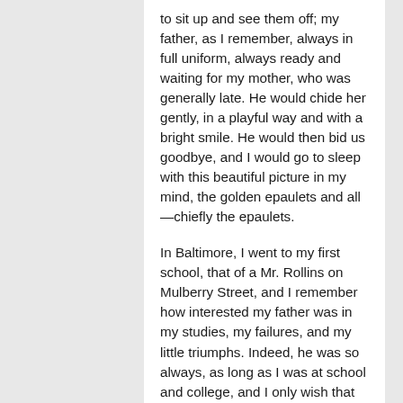to sit up and see them off; my father, as I remember, always in full uniform, always ready and waiting for my mother, who was generally late. He would chide her gently, in a playful way and with a bright smile. He would then bid us goodbye, and I would go to sleep with this beautiful picture in my mind, the golden epaulets and all—chiefly the epaulets.
In Baltimore, I went to my first school, that of a Mr. Rollins on Mulberry Street, and I remember how interested my father was in my studies, my failures, and my little triumphs. Indeed, he was so always, as long as I was at school and college, and I only wish that all of the kind, sensible, useful letters he wrote me had been preserved.